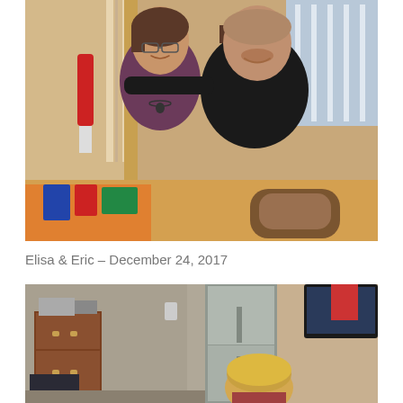[Figure (photo): A man and woman smiling together indoors at a holiday gathering. The woman on the left has short brown hair and glasses, wearing a dark red/maroon top. The man on the right is bald and wearing a black long-sleeve shirt, with his arm around the woman. There are wrapped presents on the table in front of them and a staircase and window visible in the background.]
Elisa & Eric – December 24, 2017
[Figure (photo): An indoor scene showing a young child with blonde hair viewed from behind/side, sitting on the floor. A stainless steel refrigerator is visible in the background, along with a wooden dresser, and what appears to be a laptop computer. The scene appears to be a living room or kitchen area during a holiday gathering.]